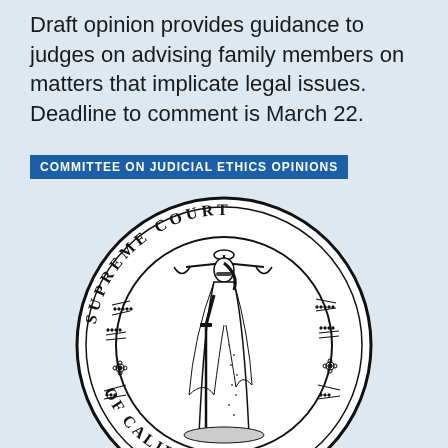Draft opinion provides guidance to judges on advising family members on matters that implicate legal issues. Deadline to comment is March 22.
COMMITTEE ON JUDICIAL ETHICS OPINIONS
[Figure (logo): Supreme Court of California official seal showing Lady Justice holding scales, with text 'SUPREME COURT OF CALIFORNIA' around the border]